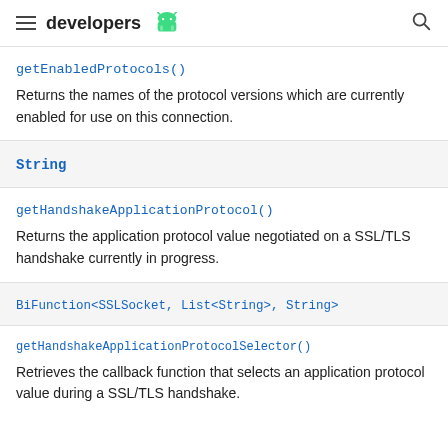≡ developers 🤖 🔍
getEnabledProtocols()
Returns the names of the protocol versions which are currently enabled for use on this connection.
String
getHandshakeApplicationProtocol()
Returns the application protocol value negotiated on a SSL/TLS handshake currently in progress.
BiFunction<SSLSocket, List<String>, String>
getHandshakeApplicationProtocolSelector()
Retrieves the callback function that selects an application protocol value during a SSL/TLS handshake.